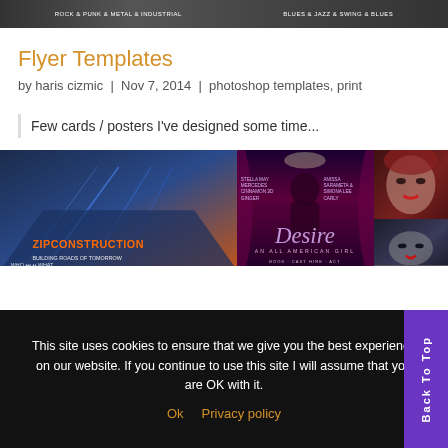[Figure (photo): Top banner strip showing event flyer thumbnails with dark background and colored text]
Flyer Templates
by haris cizmic | Nov 7, 2014 | photoshop templates, print
Few cards / posters I've designed some time...
[Figure (photo): Grid of poster/flyer designs: left shows ZipConstruction building flyer with blue tones, center shows Desire An All American Girl event flyer with purple/pink tones, right shows close-up portrait photos]
This site uses cookies to ensure that we give you the best experience on our website. If you continue to use this site I will assume that you are OK with it.
Ok   Privacy policy